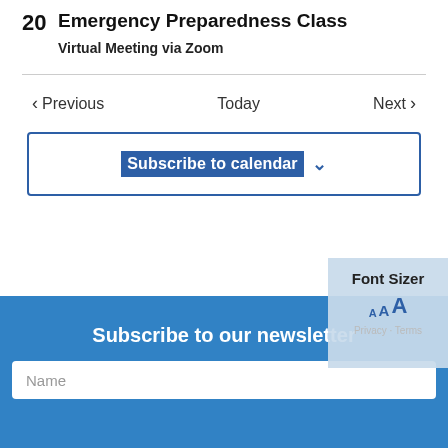Emergency Preparedness Class
Virtual Meeting via Zoom
Previous   Today   Next
Subscribe to calendar
Subscribe to our newsletter
Name
Font Sizer